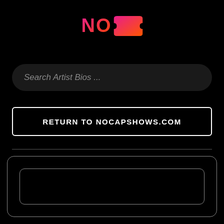[Figure (logo): NoCap Shows logo with pink-to-orange gradient 'NO' text and a ticket icon]
Search Artist Bios ...
RETURN TO NOCAPSHOWS.COM
[Figure (screenshot): Two nested rounded rectangle card outlines on black background, representing an empty content area]